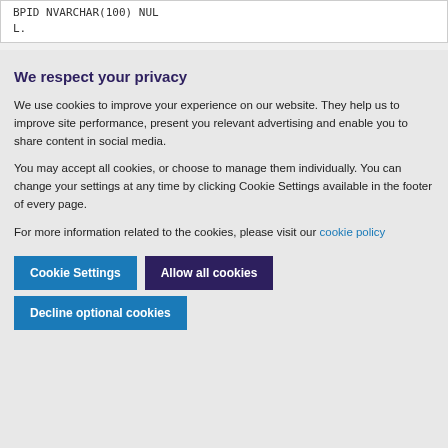BPID    NVARCHAR(100) NULL.
We respect your privacy
We use cookies to improve your experience on our website. They help us to improve site performance, present you relevant advertising and enable you to share content in social media.
You may accept all cookies, or choose to manage them individually. You can change your settings at any time by clicking Cookie Settings available in the footer of every page.
For more information related to the cookies, please visit our cookie policy
Cookie Settings
Allow all cookies
Decline optional cookies